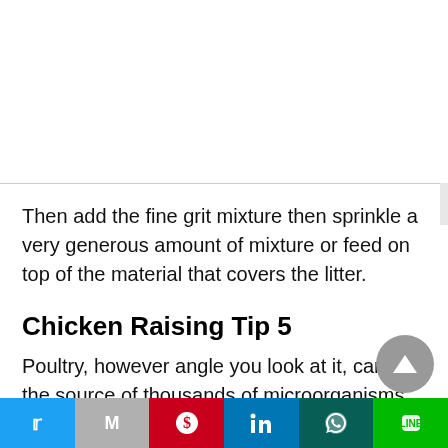Then add the fine grit mixture then sprinkle a very generous amount of mixture or feed on top of the material that covers the litter.
Chicken Raising Tip 5
Poultry, however angle you look at it, can be the source of thousands of microorganisms which are potentially harmful.